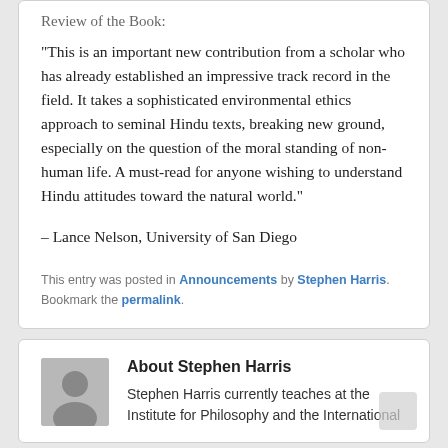Review of the Book:
“This is an important new contribution from a scholar who has already established an impressive track record in the field. It takes a sophisticated environmental ethics approach to seminal Hindu texts, breaking new ground, especially on the question of the moral standing of non-human life. A must-read for anyone wishing to understand Hindu attitudes toward the natural world.”
– Lance Nelson, University of San Diego
This entry was posted in Announcements by Stephen Harris. Bookmark the permalink.
About Stephen Harris
Stephen Harris currently teaches at the Institute for Philosophy and the International